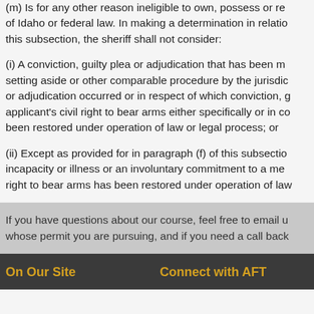(m)  Is for any other reason ineligible to own, possess or receive firearms under the laws of Idaho or federal law. In making a determination in relation to this subsection, the sheriff shall not consider:
(i)   A conviction, guilty plea or adjudication that has been mitigated by a setting aside or other comparable procedure by the jurisdiction in which the conviction or adjudication occurred or in respect of which conviction, guilty plea or adjudication the applicant's civil right to bear arms either specifically or in consequence has already been restored under operation of law or legal process; or
(ii)  Except as provided for in paragraph (f) of this subsection, a mental health incapacity or illness or an involuntary commitment to a mental institution if the civil right to bear arms has been restored under operation of law.
If you have questions about our course, feel free to email us with the state whose permit you are pursuing, and if you need a call back
On Our Site
Connect with AFT